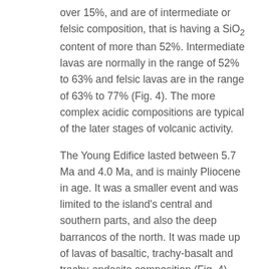over 15%, and are of intermediate or felsic composition, that is having a SiO₂ content of more than 52%. Intermediate lavas are normally in the range of 52% to 63% and felsic lavas are in the range of 63% to 77% (Fig. 4). The more complex acidic compositions are typical of the later stages of volcanic activity.
The Young Edifice lasted between 5.7 Ma and 4.0 Ma, and is mainly Pliocene in age. It was a smaller event and was limited to the island's central and southern parts, and also the deep barrancos of the north. It was made up of lavas of basaltic, trachy-basalt and trachy-andesite composition (Fig. 4). These lavas show a slight enrichment of sodium and potassium (between 5% and 9%) and, with the trachy-andesite, an enrichment of SiO₂ content in